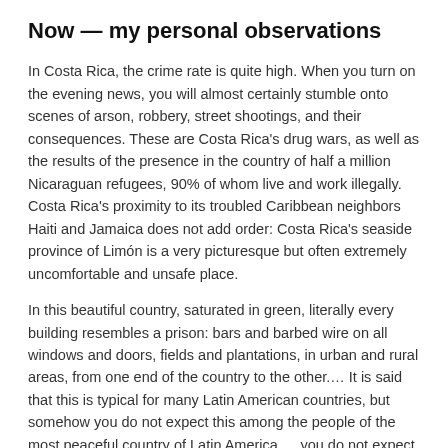Now — my personal observations
In Costa Rica, the crime rate is quite high. When you turn on the evening news, you will almost certainly stumble onto scenes of arson, robbery, street shootings, and their consequences. These are Costa Rica's drug wars, as well as the results of the presence in the country of half a million Nicaraguan refugees, 90% of whom live and work illegally. Costa Rica's proximity to its troubled Caribbean neighbors Haiti and Jamaica does not add order: Costa Rica's seaside province of Limón is a very picturesque but often extremely uncomfortable and unsafe place.
In this beautiful country, saturated in green, literally every building resembles a prison: bars and barbed wire on all windows and doors, fields and plantations, in urban and rural areas, from one end of the country to the other.… It is said that this is typical for many Latin American countries, but somehow you do not expect this among the people of the most peaceful country of Latin America … you do not expect this at all. Yes, it's passive protection, but still